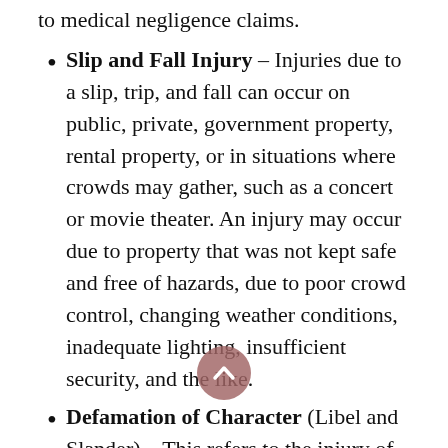patient. Medical and dental decisions may lead to medical negligence claims.
Slip and Fall Injury – Injuries due to a slip, trip, and fall can occur on public, private, government property, rental property, or in situations where crowds may gather, such as a concert or movie theater. An injury may occur due to property that was not kept safe and free of hazards, due to poor crowd control, changing weather conditions, inadequate lighting, insufficient security, and the like.
Defamation of Character (Libel and Slander) – This refers to the injury of one's reputation or character that is the result of untrue statements. Your personal injury lawyer works to prove that the untrue statement made resulted in actual harm, such as a financial